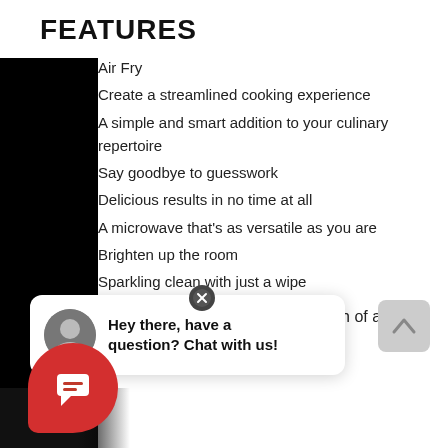FEATURES
Air Fry
Create a streamlined cooking experience
A simple and smart addition to your culinary repertoire
Say goodbye to guesswork
Delicious results in no time at all
A microwave that's as versatile as you are
Brighten up the room
Sparkling clean with just a wipe
More room for more food
Like a breath of fresh air
Cook more at once
touch of a button
Hey there, have a question? Chat with us!